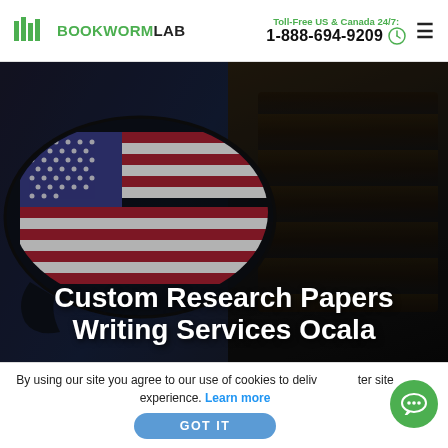BOOKWORMLAB | Toll-Free US & Canada 24/7: 1-888-694-9209
[Figure (photo): Hero banner with US flag map silhouette overlay on dark background with a student (young Black woman with braids) studying at a desk with bookshelves]
Custom Research Papers Writing Services Ocala
By using our site you agree to our use of cookies to deliver a better site experience. Learn more
GOT IT